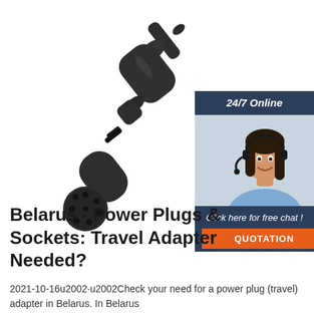[Figure (photo): A black multi-pin automotive/trailer electrical adapter plug, photographed at an angle on a white background. The plug has a cylindrical barrel with multiple connection pins visible at one end.]
[Figure (infographic): Sidebar widget showing a customer service agent (woman with headset, smiling) with '24/7 Online' header text at top in dark blue, 'Click here for free chat!' text below the photo, and an orange 'QUOTATION' button at the bottom.]
Belarus - Power Plugs & Sockets: Travel Adapter Needed?
2021-10-16u2002·u2002Check your need for a power plug (travel) adapter in Belarus. In Belarus